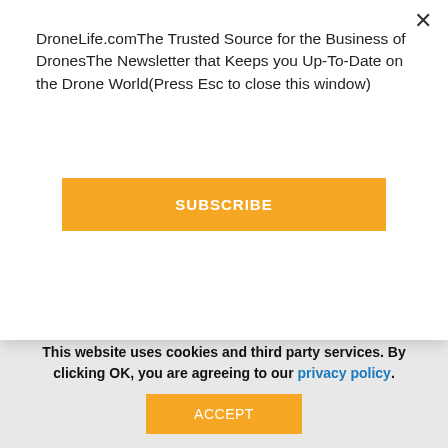DroneLife.comThe Trusted Source for the Business of DronesThe Newsletter that Keeps you Up-To-Date on the Drone World(Press Esc to close this window)
SUBSCRIBE
Partners with Vets to Drones
PromoDrones and Vets To Drones Partner: Drone Training for Veterans by DRONELIFE Staff Writer Ian M Crosby San ...
DRONEIl's Drone Industry Barometer 2022 is Out: Why Most Companies Use Drones
The DRONEIl Drone Industry Barometer 2022 is out – and the results of the survey reveal what drone ...
This website uses cookies and third party services. By clicking OK, you are agreeing to our privacy policy.
ACCEPT